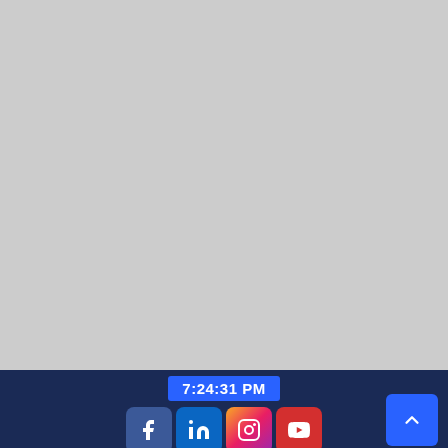[Figure (screenshot): Large gray placeholder area occupying the top portion of the page]
7:24:31 PM | Social media icons: Facebook, LinkedIn, Instagram, YouTube | Scroll-to-top button